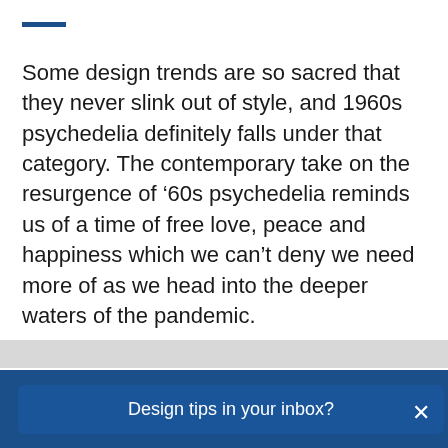[Figure (other): Short horizontal blue rule/bar decorative element at top left]
Some design trends are so sacred that they never slink out of style, and 1960s psychedelia definitely falls under that category. The contemporary take on the resurgence of ’60s psychedelia reminds us of a time of free love, peace and happiness which we can’t deny we need more of as we head into the deeper waters of the pandemic.
Design tips in your inbox?